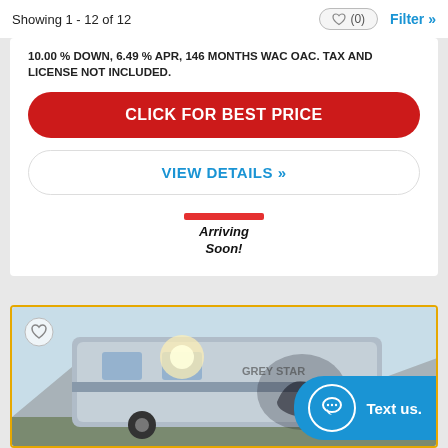Showing 1 - 12 of 12
10.00 % DOWN, 6.49 % APR, 146 MONTHS WAC OAC. TAX AND LICENSE NOT INCLUDED.
CLICK FOR BEST PRICE
VIEW DETAILS »
Arriving Soon!
[Figure (photo): RV/travel trailer side view with graphic decal, partially visible, arriving soon badge area]